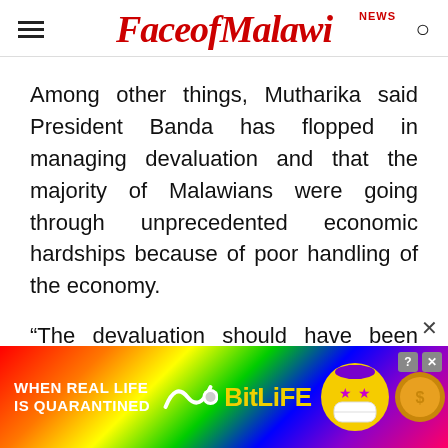FaceofMalawi NEWS
Among other things, Mutharika said President Banda has flopped in managing devaluation and that the majority of Malawians were going through unprecedented economic hardships because of poor handling of the economy.
“The devaluation should have been done gradually to avoid causing suffering on
[Figure (infographic): BitLife mobile game advertisement banner with rainbow gradient background, text 'WHEN REAL LIFE IS QUARANTINED', BitLife logo in yellow, animated character face with star eyes and mask, coin graphic, close button and help button in top right corner]